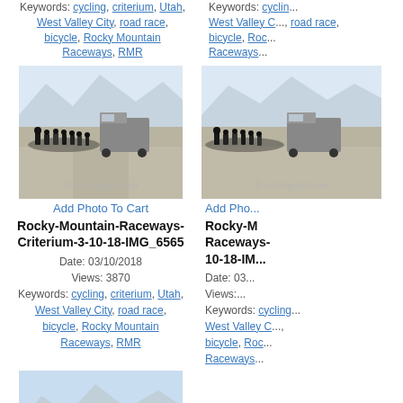Keywords: cycling, criterium, Utah, West Valley City, road race, bicycle, Rocky Mountain Raceways, RMR
Keywords: cycling, West Valley C..., bicycle, Raceways...
[Figure (photo): Cyclists racing on a road with mountains in background and a vehicle, watermark cyclingutah.com]
Add Photo To Cart
Rocky-Mountain-Raceways-Criterium-3-10-18-IMG_6565
Date: 03/10/2018
Views: 3870
Keywords: cycling, criterium, Utah, West Valley City, road race, bicycle, Rocky Mountain Raceways, RMR
[Figure (photo): Cyclists racing on a road with mountains in background and a vehicle, watermark cyclingutah.com (right column, partially visible)]
Add Pho...
Rocky-M Raceways- 10-18-IM...
Date: 03...
Views: ...
Keywords: cycling, West Valley C, bicycle, Roc, Raceways...
[Figure (photo): Cyclists racing on a road with mountains in background and a vehicle, watermark cyclingutah.com]
Add Photo To Cart
Rocky-Mountain-